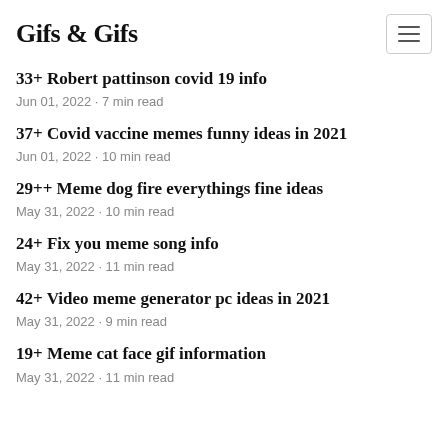Gifs & Gifs
33+ Robert pattinson covid 19 info
Jun 01, 2022 · 7 min read
37+ Covid vaccine memes funny ideas in 2021
Jun 01, 2022 · 10 min read
29++ Meme dog fire everythings fine ideas
May 31, 2022 · 10 min read
24+ Fix you meme song info
May 31, 2022 · 11 min read
42+ Video meme generator pc ideas in 2021
May 31, 2022 · 9 min read
19+ Meme cat face gif information
May 31, 2022 · 11 min read